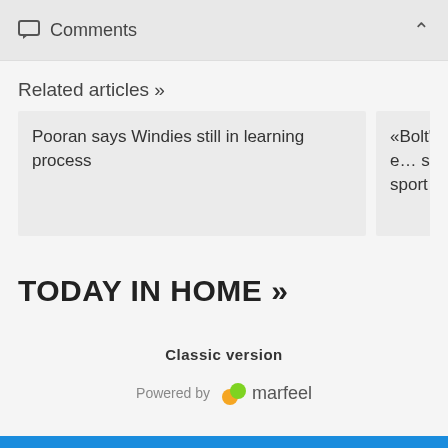Comments
Related articles »
Pooran says Windies still in learning process
«Bolt's Mom e… support sport…
TODAY IN HOME »
Classic version
Powered by marfeel